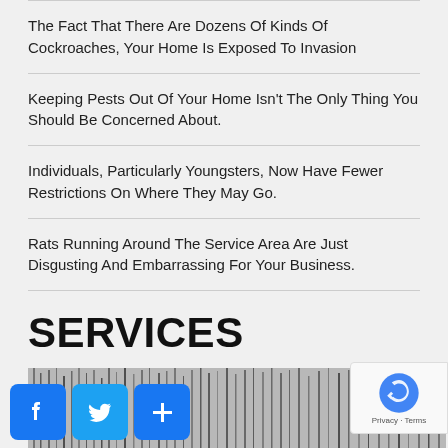The Fact That There Are Dozens Of Kinds Of Cockroaches, Your Home Is Exposed To Invasion
Keeping Pests Out Of Your Home Isn't The Only Thing You Should Be Concerned About.
Individuals, Particularly Youngsters, Now Have Fewer Restrictions On Where They May Go.
Rats Running Around The Service Area Are Just Disgusting And Embarrassing For Your Business.
SERVICES
[Figure (photo): Photo of thin metallic brush-like or wire-like objects, resembling cleaning brushes or wire strands viewed from the side.]